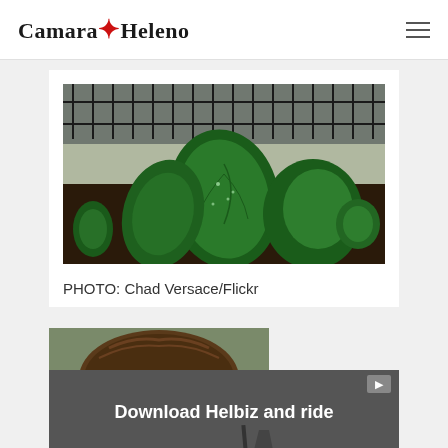Camara Heleno
[Figure (photo): Close-up photograph of green leafy plants (spinach or similar vegetables) growing in a garden bed with dark soil and a metal fence in the background]
PHOTO: Chad Versace/Flickr
[Figure (photo): Partial view of a person's head/hair, cropped at the bottom of the visible area]
[Figure (screenshot): Advertisement banner reading 'Download Helbiz and ride' showing a scooter, with a close button (×) on the right side]